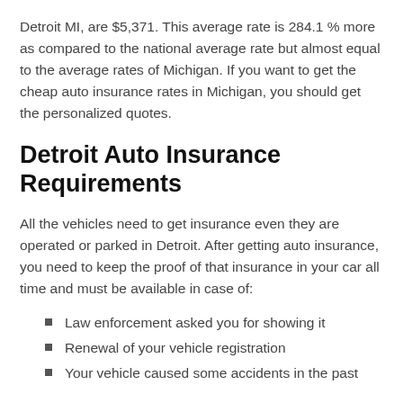Detroit MI, are $5,371. This average rate is 284.1 % more as compared to the national average rate but almost equal to the average rates of Michigan. If you want to get the cheap auto insurance rates in Michigan, you should get the personalized quotes.
Detroit Auto Insurance Requirements
All the vehicles need to get insurance even they are operated or parked in Detroit. After getting auto insurance, you need to keep the proof of that insurance in your car all time and must be available in case of:
Law enforcement asked you for showing it
Renewal of your vehicle registration
Your vehicle caused some accidents in the past
The lowest auto insurance requirements for the passenger